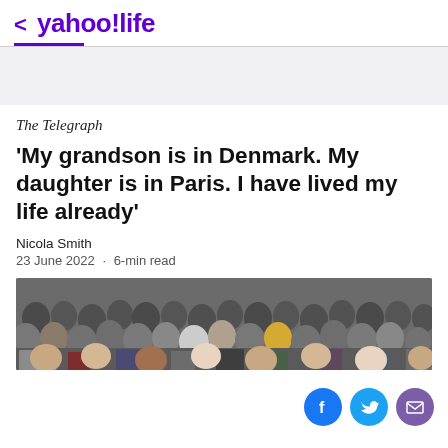< yahoo!life
The Telegraph
'My grandson is in Denmark. My daughter is in Paris. I have lived my life already'
Nicola Smith
23 June 2022 · 6-min read
[Figure (photo): Large crowd of people, a wide audience shot]
[Figure (infographic): Social sharing icons: Facebook (blue circle), Twitter (cyan circle), email/mail (purple circle)]